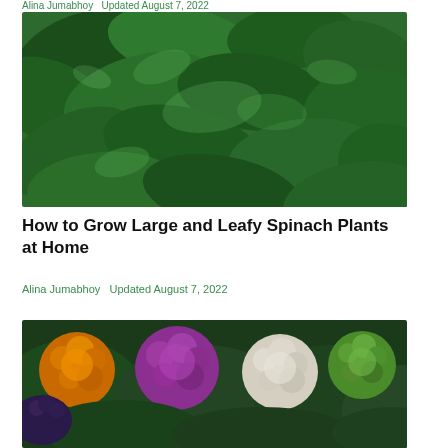Alina Jumabhoy   Updated August 7, 2022
[Figure (photo): Close-up photo of fresh dark green spinach leaves piled together]
How to Grow Large and Leafy Spinach Plants at Home
Alina Jumabhoy   Updated August 7, 2022
[Figure (photo): Photo of colorful cauliflower varieties including orange, purple, white, and green romanesco cauliflower with dark leafy greens]